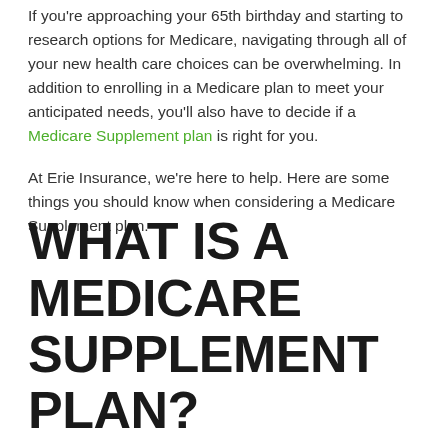If you're approaching your 65th birthday and starting to research options for Medicare, navigating through all of your new health care choices can be overwhelming. In addition to enrolling in a Medicare plan to meet your anticipated needs, you'll also have to decide if a Medicare Supplement plan is right for you.
At Erie Insurance, we're here to help. Here are some things you should know when considering a Medicare Supplement plan.
WHAT IS A MEDICARE SUPPLEMENT PLAN?